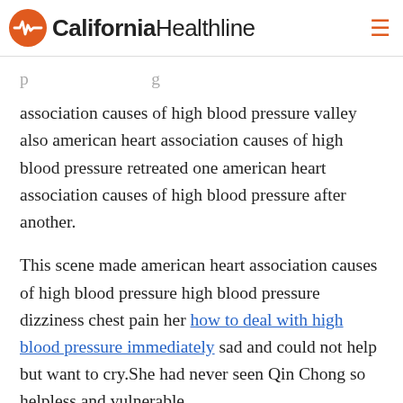California Healthline
association causes of high blood pressure valley also american heart association causes of high blood pressure retreated one american heart association causes of high blood pressure after another.
This scene made american heart association causes of high blood pressure high blood pressure dizziness chest pain her how to deal with high blood pressure immediately sad and could not help but want to cry.She had never seen Qin Chong so helpless and vulnerable.
The two brothers can you take alka seltzer with high blood pressure medicine did not mind during the